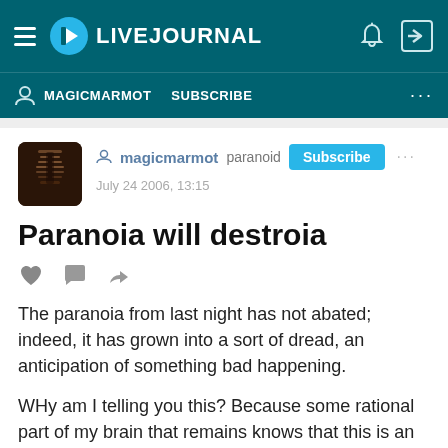LIVEJOURNAL
MAGICMARMOT   SUBSCRIBE
magicmarmot  paranoid  Subscribe
July 24 2006, 13:15
Paranoia will destroia
The paranoia from last night has not abated; indeed, it has grown into a sort of dread, an anticipation of something bad happening.
WHy am I telling you this? Because some rational part of my brain that remains knows that this is an abboration